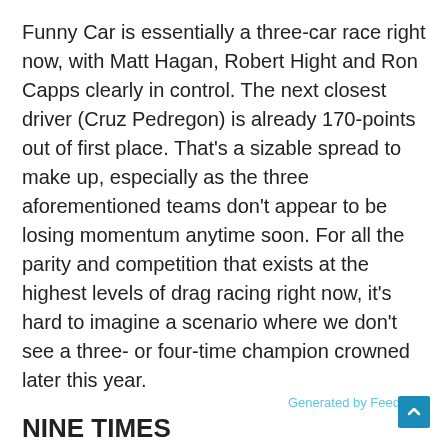Funny Car is essentially a three-car race right now, with Matt Hagan, Robert Hight and Ron Capps clearly in control. The next closest driver (Cruz Pedregon) is already 170-points out of first place. That's a sizable spread to make up, especially as the three aforementioned teams don't appear to be losing momentum anytime soon. For all the parity and competition that exists at the highest levels of drag racing right now, it's hard to imagine a scenario where we don't see a three- or four-time champion crowned later this year.
NINE TIMES
Erica Enders has won at least one race in Las Vegas for the last four years straight. Pretty impressive. Not only did EE do her job in Sin City, her Elite Motorsports/Melling Chevy Camaro was on the money, too – as were all the teams' better-than-a-half-dozen hot rods, including fellow finalist